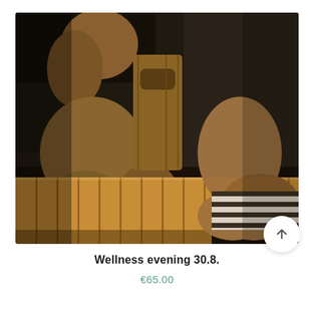[Figure (photo): People relaxing in a sauna on wooden benches. Dark tiled walls in the background, warm wooden bench surface visible. A wooden board prop/headrest stands in the middle. Two people visible: one reclining on the left with a striped towel, another sitting on the right.]
Wellness evening 30.8.
€65.00